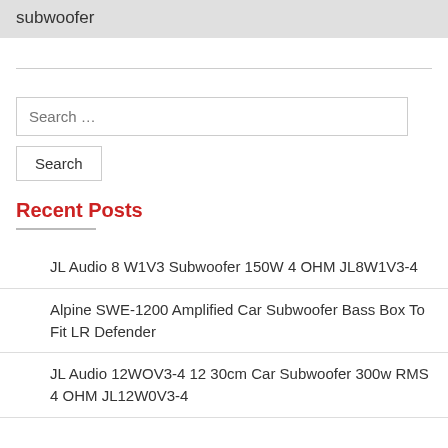subwoofer
Recent Posts
JL Audio 8 W1V3 Subwoofer 150W 4 OHM JL8W1V3-4
Alpine SWE-1200 Amplified Car Subwoofer Bass Box To Fit LR Defender
JL Audio 12WOV3-4 12 30cm Car Subwoofer 300w RMS 4 OHM JL12W0V3-4